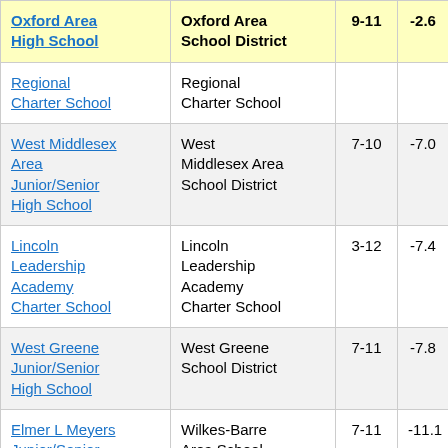| School | District | Grades | Value |  |
| --- | --- | --- | --- | --- |
| Oxford Area High School | Oxford Area School District | 9-11 | -2.6 |  |
| Regional Charter School | Regional Charter School |  |  |  |
| West Middlesex Area Junior/Senior High School | West Middlesex Area School District | 7-10 | -7.0 |  |
| Lincoln Leadership Academy Charter School | Lincoln Leadership Academy Charter School | 3-12 | -7.4 |  |
| West Greene Junior/Senior High School | West Greene School District | 7-11 | -7.8 |  |
| Elmer L Meyers Junior/Senior High School | Wilkes-Barre Area School District | 7-11 | -11.1 |  |
| Preparatory | Preparatory Charter School |  |  |  |